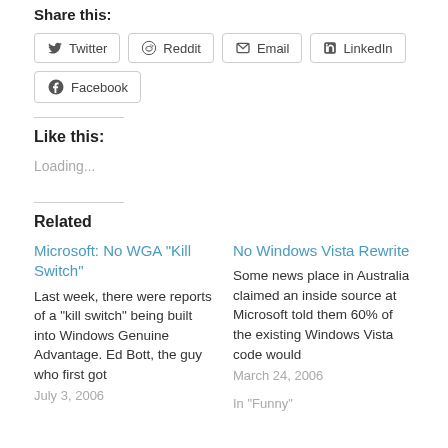Share this:
Twitter
Reddit
Email
LinkedIn
Facebook
Like this:
Loading...
Related
Microsoft: No WGA “Kill Switch”
Last week, there were reports of a "kill switch" being built into Windows Genuine Advantage. Ed Bott, the guy who first got
July 3, 2006
No Windows Vista Rewrite
Some news place in Australia claimed an inside source at Microsoft told them 60% of the existing Windows Vista code would
March 24, 2006
In "Funny"